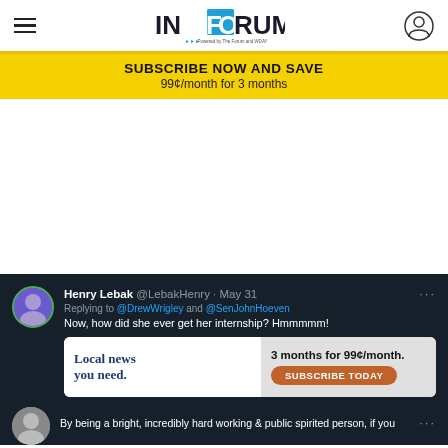INFORUM - Powered by The Forum and WDAY
SUBSCRIBE NOW AND SAVE
99¢/month for 3 months
[Figure (screenshot): Tweet from Henry Lebak (@LebakHenry · May 31) replying to @DrewWrigley and @SenJohnHoeven: 'Now, how did she ever get her internship? Hmmmmm!' with an inline advertisement for 'Local news you need. 3 months for 99¢/month. SUBSCRIBE TODAY']
By being a bright, incredibly hard working & public spirited person, if you